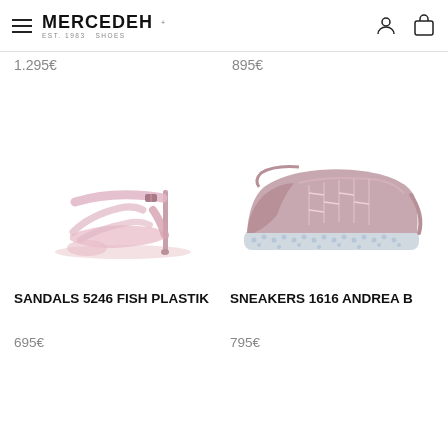Mercedeh (logo) — navigation header with hamburger menu, user icon, and bag icon
1.295€
895€
[Figure (photo): Pink transparent high-heel sandal with ankle strap and buckle, stiletto heel, fish plastik style]
[Figure (photo): Dusty pink leather sneaker with crystal/rhinestone embellished sole, lace-up style, Andrea B model]
SANDALS 5246 FISH PLASTIK
695€
SNEAKERS 1616 ANDREA B
795€